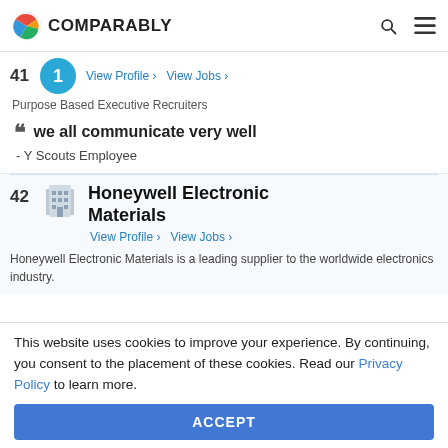COMPARABLY
41 — View Profile › View Jobs ›
Purpose Based Executive Recruiters
" we all communicate very well
- Y Scouts Employee
42 Honeywell Electronic Materials — View Profile › View Jobs ›
Honeywell Electronic Materials is a leading supplier to the worldwide electronics industry.
This website uses cookies to improve your experience. By continuing, you consent to the placement of these cookies. Read our Privacy Policy to learn more.
ACCEPT